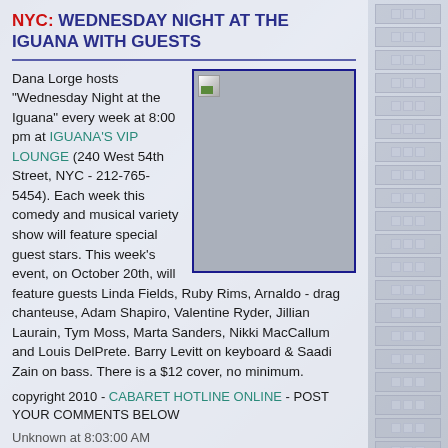NYC: WEDNESDAY NIGHT AT THE IGUANA WITH GUESTS
Dana Lorge hosts "Wednesday Night at the Iguana" every week at 8:00 pm at IGUANA'S VIP LOUNGE (240 West 54th Street, NYC - 212-765-5454). Each week this comedy and musical variety show will feature special guest stars. This week's event, on October 20th, will feature guests Linda Fields, Ruby Rims, Arnaldo - drag chanteuse, Adam Shapiro, Valentine Ryder, Jillian Laurain, Tym Moss, Marta Sanders, Nikki MacCallum and Louis DelPrete. Barry Levitt on keyboard & Saadi Zain on bass. There is a $12 cover, no minimum.
[Figure (photo): Photo of a coastal resort or beach area, partially loaded/broken image icon visible in top-left corner]
copyright 2010 - CABARET HOTLINE ONLINE - POST YOUR COMMENTS BELOW
Unknown at 8:03:00 AM